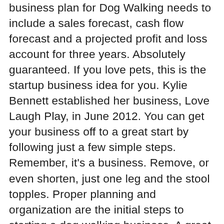business plan for Dog Walking needs to include a sales forecast, cash flow forecast and a projected profit and loss account for three years. Absolutely guaranteed. If you love pets, this is the startup business idea for you. Kylie Bennett established her business, Love Laugh Play, in June 2012. You can get your business off to a great start by following just a few simple steps. Remember, it's a business. Remove, or even shorten, just one leg and the stool topples. Proper planning and organization are the initial steps to starting a dog walking business. A great way to make your business plan stand out is to do some detailed research based on the area you want to offer the service. Part 1 of 3: ... "I am a 13-year-old girl preparing to start a pet sitting and dog walking service in my town. 16 tips for how to start a dog walking business: 1. Tice launched her dog walking business, Boston for the Dogs, four years ago. By giving business owners powerful tools and only picking the best of the best businesses to use them, we are harnessing the power of automated word-of-mouth. A discount coupon for the first visit or dog walking session. Much to